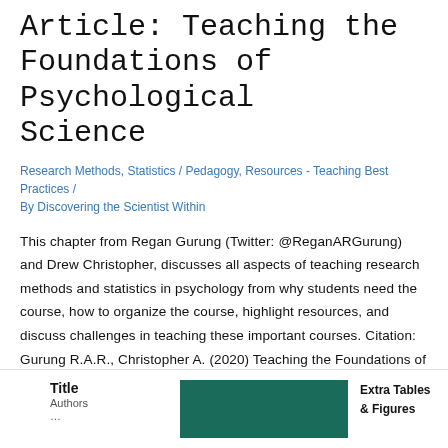Article: Teaching the Foundations of Psychological Science
Research Methods, Statistics / Pedagogy, Resources - Teaching Best Practices / By Discovering the Scientist Within
This chapter from Regan Gurung (Twitter: @ReganARGurung) and Drew Christopher, discusses all aspects of teaching research methods and statistics in psychology from why students need the course, how to organize the course, highlight resources, and discuss challenges in teaching these important courses. Citation: Gurung R.A.R., Christopher A. (2020) Teaching the Foundations of Psychological Science. In: ...
Read More »
Title
Authors
Extra Tables & Figures